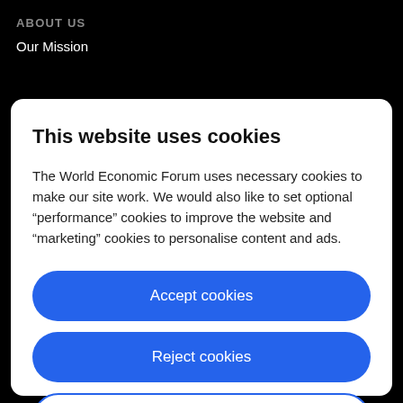ABOUT US
Our Mission
This website uses cookies
The World Economic Forum uses necessary cookies to make our site work. We would also like to set optional “performance” cookies to improve the website and “marketing” cookies to personalise content and ads.
Accept cookies
Reject cookies
Cookie settings